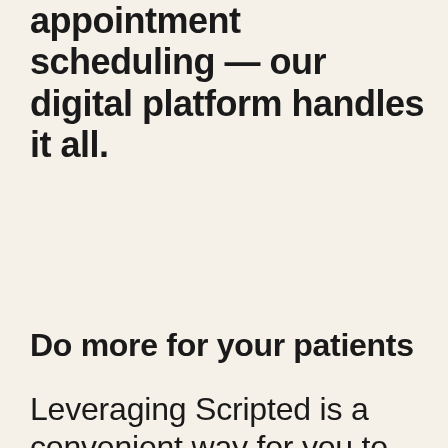appointment scheduling — our digital platform handles it all.
Do more for your patients
Leveraging Scripted is a convenient way for you to offer patients